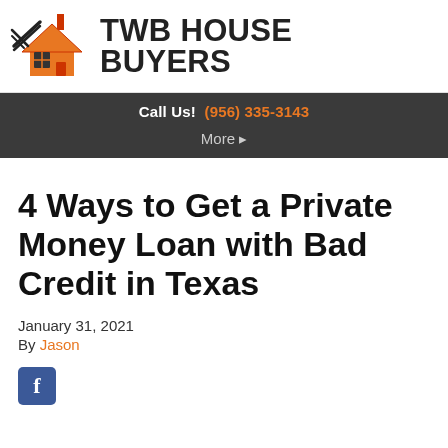[Figure (logo): TWB House Buyers logo with orange house icon and bold text]
Call Us! (956) 335-3143
More ▸
4 Ways to Get a Private Money Loan with Bad Credit in Texas
January 31, 2021
By Jason
[Figure (logo): Facebook share button icon]